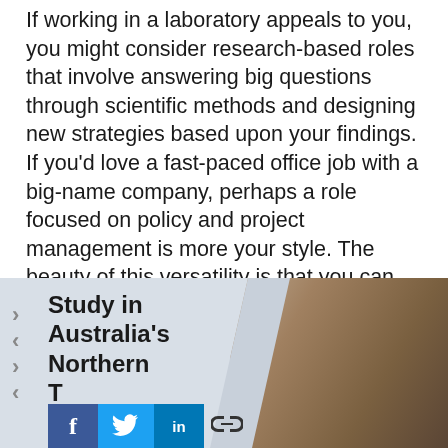If working in a laboratory appeals to you, you might consider research-based roles that involve answering big questions through scientific methods and designing new strategies based upon your findings. If you'd love a fast-paced office job with a big-name company, perhaps a role focused on policy and project management is more your style. The beauty of this versatility is that you can take your time to decide as you continue to explore new areas through study, research and experience.
[Figure (infographic): Promotional card reading 'Study in Australia's Northern Territory' with chevron arrows on the left side and social media share buttons (Facebook, Twitter, LinkedIn, link) at the bottom. A blurred photo background appears on the right side of the card.]